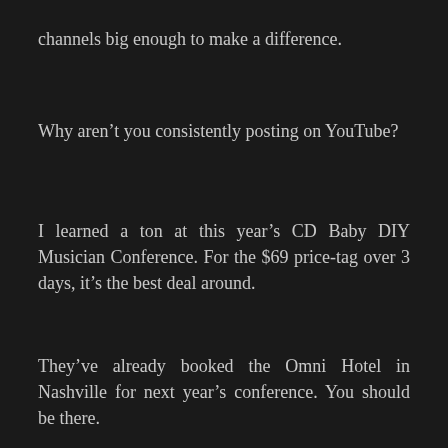channels big enough to make a difference.
Why aren't you consistently posting on YouTube?
I learned a ton at this year's CD Baby DIY Musician Conference. For the $69 price-tag over 3 days, it's the best deal around.
They've already booked the Omni Hotel in Nashville for next year's conference. You should be there.